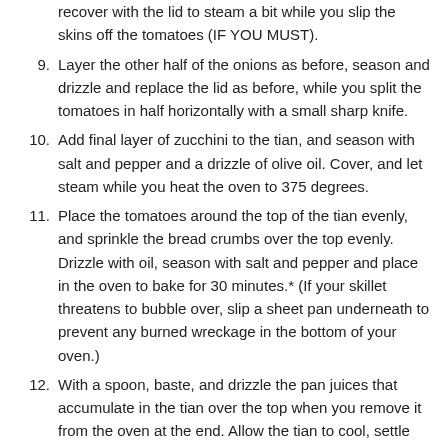(continuation) recover with the lid to steam a bit while you slip the skins off the tomatoes (IF YOU MUST).
9. Layer the other half of the onions as before, season and drizzle and replace the lid as before, while you split the tomatoes in half horizontally with a small sharp knife.
10. Add final layer of zucchini to the tian, and season with salt and pepper and a drizzle of olive oil. Cover, and let steam while you heat the oven to 375 degrees.
11. Place the tomatoes around the top of the tian evenly, and sprinkle the bread crumbs over the top evenly. Drizzle with oil, season with salt and pepper and place in the oven to bake for 30 minutes.* (If your skillet threatens to bubble over, slip a sheet pan underneath to prevent any burned wreckage in the bottom of your oven.)
12. With a spoon, baste, and drizzle the pan juices that accumulate in the tian over the top when you remove it from the oven at the end. Allow the tian to cool, settle